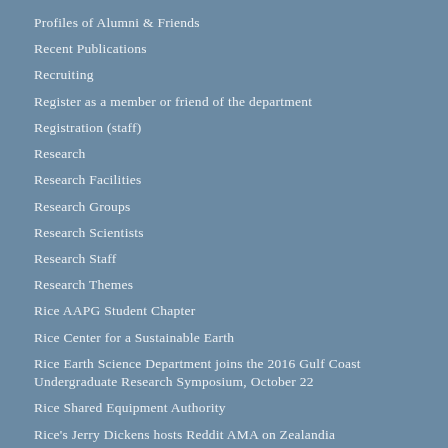Profiles of Alumni & Friends
Recent Publications
Recruiting
Register as a member or friend of the department
Registration (staff)
Research
Research Facilities
Research Groups
Research Scientists
Research Staff
Research Themes
Rice AAPG Student Chapter
Rice Center for a Sustainable Earth
Rice Earth Science Department joins the 2016 Gulf Coast Undergraduate Research Symposium, October 22
Rice Shared Equipment Authority
Rice's Jerry Dickens hosts Reddit AMA on Zealandia